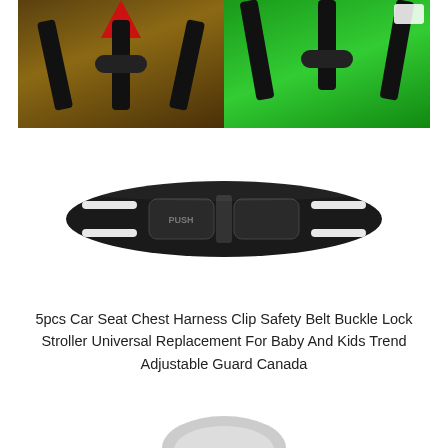[Figure (photo): Two side-by-side photos showing car seat chest harness clips in use. Left photo shows a clip on a red/dark background with a child harness. Right photo shows a clip on a bright green background with a child harness.]
[Figure (photo): Product photo of a black plastic chest harness clip buckle lock on white background. Oval-shaped clip with 'PUSH' label on left button and two sections that press together.]
5pcs Car Seat Chest Harness Clip Safety Belt Buckle Lock Stroller Universal Replacement For Baby And Kids Trend Adjustable Guard Canada
[Figure (photo): Partial view of another product at the bottom of the page, white/grey plastic item, partially cut off.]